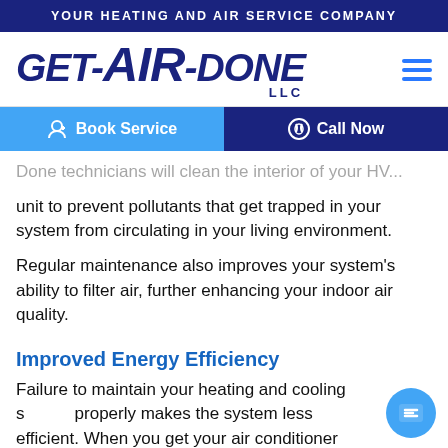YOUR HEATING AND AIR SERVICE COMPANY
[Figure (logo): GET-AIR-DONE LLC company logo in dark navy italic bold font]
Book Service
Call Now
Done technicians will clean the interior of your HVAC unit to prevent pollutants that get trapped in your system from circulating in your living environment.
Regular maintenance also improves your system's ability to filter air, further enhancing your indoor air quality.
Improved Energy Efficiency
Failure to maintain your heating and cooling system properly makes the system less efficient. When you get your air conditioner serviced by an experienced